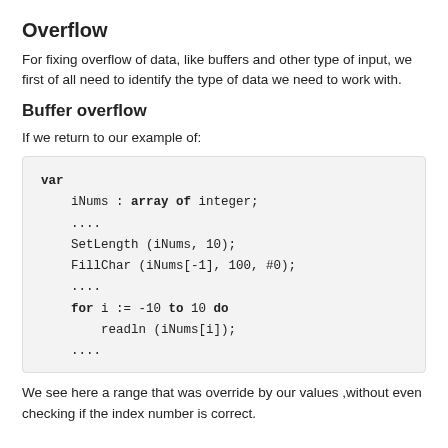Overflow
For fixing overflow of data, like buffers and other type of input, we first of all need to identify the type of data we need to work with.
Buffer overflow
If we return to our example of:
[Figure (screenshot): Code block showing Pascal-like code: var declaration, iNums array of integer, SetLength, FillChar with buffer overflow, for loop with readln, with bold keywords (var, array, of, for, to, do).]
We see here a range that was override by our values ,without even checking if the index number is correct.